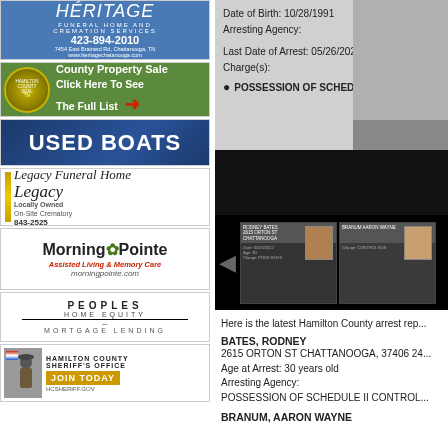[Figure (illustration): Heritage Funeral Home and Cremation Services advertisement. Blue background with white text. Phone: 423-894-2010. Address: 7454 East Brainerd Rd, Chattanooga, TN. Website: www.heritagechatanooga.com]
[Figure (illustration): Hamilton County seal advertisement for County Property Sale with text 'Click Here To See The Full List' and red arrow on green background]
[Figure (illustration): Used Boats advertisement with white bold text on dark blue gradient background]
[Figure (illustration): Legacy Funeral Home advertisement. Locally Owned, On-Site Crematory, phone 843-2525]
[Figure (illustration): Morning Pointe Assisted Living and Memory Care advertisement. morningpointe.com]
[Figure (illustration): Peoples Home Equity Mortgage Lending advertisement]
[Figure (illustration): Hamilton County Sheriff's Office Join Today advertisement. HCSHERIFF.GOV]
Date of Birth: 10/28/1991
Arresting Agency:

Last Date of Arrest: 05/26/2022
Charge(s):

POSSESSION OF SCHEDULE II CO...
[Figure (photo): Mugshot card thumbnails for arrested individuals on black background]
Here is the latest Hamilton County arrest rep...
BATES, RODNEY
2615 ORTON ST CHATTANOOGA, 37406 24...
Age at Arrest: 30 years old
Arresting Agency:
POSSESSION OF SCHEDULE II CONTROL...
BRANUM, AARON WAYNE